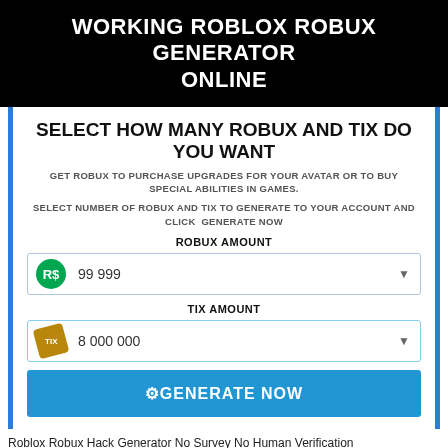WORKING ROBLOX ROBUX GENERATOR ONLINE
SELECT HOW MANY ROBUX AND TIX DO YOU WANT
GET ROBUX TO PURCHASE UPGRADES FOR YOUR AVATAR OR TO BUY SPECIAL ABILITIES IN GAMES.
SELECT NUMBER OF ROBUX AND TIX TO GENERATE TO YOUR ACCOUNT AND CLICK GENERATE NOW
ROBUX AMOUNT
99 999
TIX AMOUNT
8 000 000
⚙GENERATE NOW
Roblox Robux Hack Generator No Survey No Human Verification